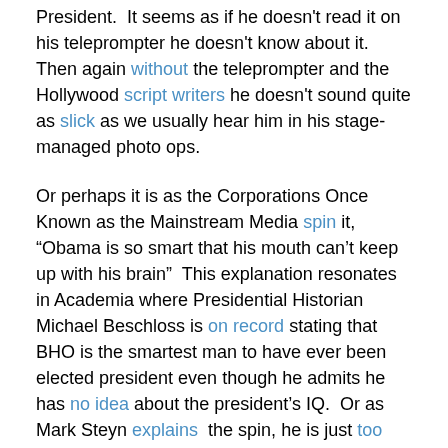President.  It seems as if he doesn't read it on his teleprompter he doesn't know about it.  Then again without the teleprompter and the Hollywood script writers he doesn't sound quite as slick as we usually hear him in his stage-managed photo ops.
Or perhaps it is as the Corporations Once Known as the Mainstream Media spin it, “Obama is so smart that his mouth can’t keep up with his brain”  This explanation resonates in Academia where Presidential Historian Michael Beschloss is on record stating that BHO is the smartest man to have ever been elected president even though he admits he has no idea about the president’s IQ.  Or as Mark Steyn explains  the spin, he is just too smart to be President and we were too dumb to know he was too smart.